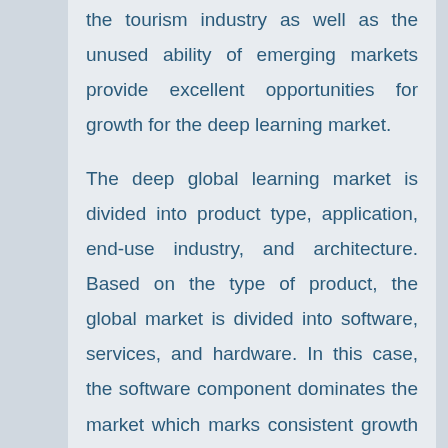the tourism industry as well as the unused ability of emerging markets provide excellent opportunities for growth for the deep learning market.
The deep global learning market is divided into product type, application, end-use industry, and architecture. Based on the type of product, the global market is divided into software, services, and hardware. In this case, the software component dominates the market which marks consistent growth due to the high adoption of smartphone assistants. Depending on the type of application, the market segmentation is